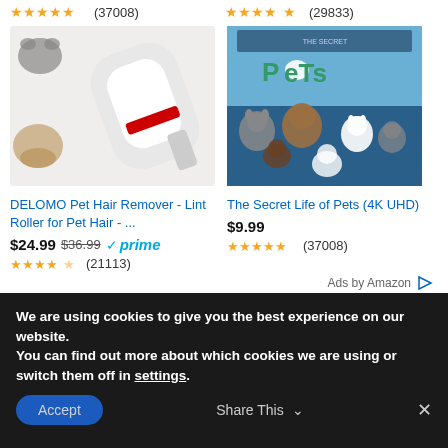★★★★★ (37008)   ★★★★★ (29833)
[Figure (photo): Pet hair remover lint roller product with cats and dogs in background]
[Figure (photo): The Secret Life of Pets movie poster (4K UHD)]
DELOMO Pet Hair Remover - Lint Roller for Pet Hair - ...
The Secret Life of Pets (4K UHD)
$24.99 $36.99 ✓prime
$9.99
★★★★½ (21113)
★★★★★ (37008)
Ads by Amazon ▷
We are using cookies to give you the best experience on our website.
You can find out more about which cookies we are using or switch them off in settings.
Accept   Share This ∨   ✕